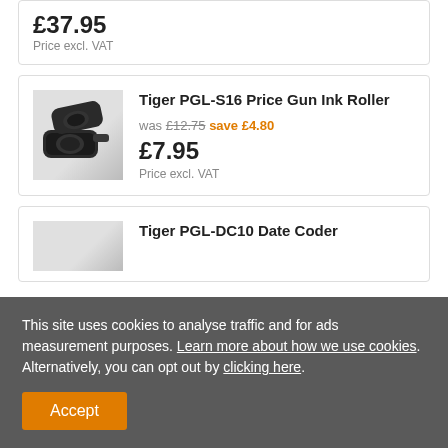£37.95
Price excl. VAT
Tiger PGL-S16 Price Gun Ink Roller
was £12.75 save £4.80
£7.95
Price excl. VAT
Tiger PGL-DC10 Date Coder
This site uses cookies to analyse traffic and for ads measurement purposes. Learn more about how we use cookies. Alternatively, you can opt out by clicking here.
Accept